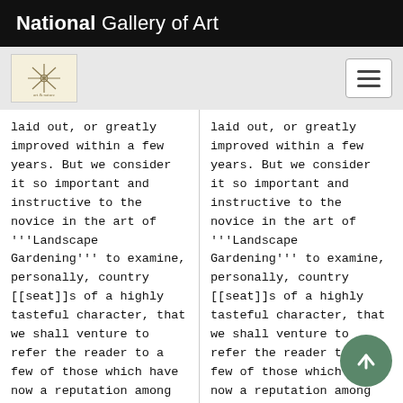National Gallery of Art
laid out, or greatly improved within a few years. But we consider it so important and instructive to the novice in the art of '''Landscape Gardening''' to examine, personally, country [[seat]]s of a highly tasteful character, that we shall venture to refer the reader to a few of those which have now a reputation among us as elegant country
laid out, or greatly improved within a few years. But we consider it so important and instructive to the novice in the art of '''Landscape Gardening''' to examine, personally, country [[seat]]s of a highly tasteful character, that we shall venture to refer the reader to a few of those which have now a reputation among us as elegant country